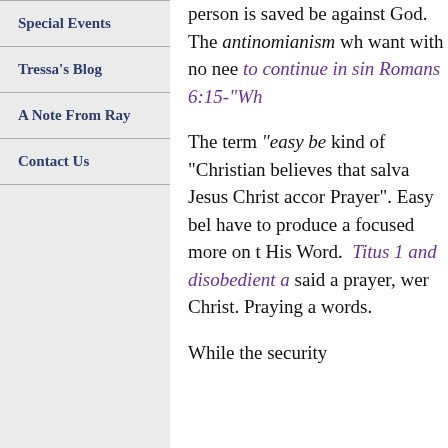Special Events
Tressa's Blog
A Note From Ray
Contact Us
person is saved be against God. The antinomianism wh want with no nee to continue in sin Romans 6:15-"Wh
The term "easy be kind of "Christian believes that salva Jesus Christ accor Prayer". Easy bel have to produce a focused more on t His Word. Titus 1 and disobedient a said a prayer, wer Christ. Praying a words.
While the security